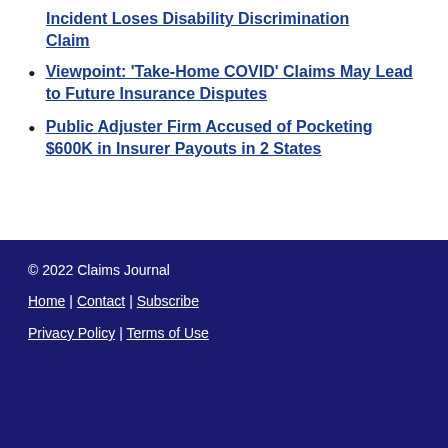Incident Loses Disability Discrimination Claim
Viewpoint: ‘Take-Home COVID’ Claims May Lead to Future Insurance Disputes
Public Adjuster Firm Accused of Pocketing $600K in Insurer Payouts in 2 States
© 2022 Claims Journal
Home | Contact | Subscribe
Privacy Policy | Terms of Use